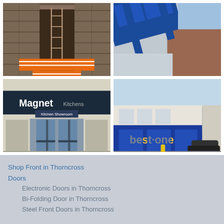[Figure (photo): Construction site doorway with orange barriers, brick wall, ladder inside]
[Figure (photo): Aerial view of blue window frame on brick building]
[Figure (photo): Magnet Kitchens showroom storefront with blue signage and glass doors]
[Figure (photo): Best One convenience store with blue fascia and signage]
Shop Front in Thorncross
Doors
Electronic Doors in Thorncross
Bi-Folding Door in Thorncross
Steel Front Doors in Thorncross